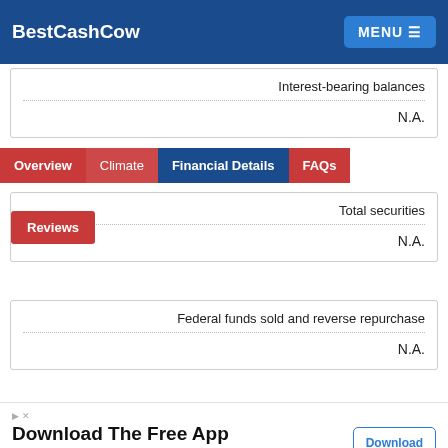BestCashCow   MENU
Interest-bearing balances
N.A.
Overview   Climate   Financial Details   FAQs
Reviews
Total securities
N.A.
Federal funds sold and reverse repurchase
N.A.
[Figure (screenshot): Advertisement: Download The Free App - Book An Appointment Online With The My Firestone® App To Get Your Complete Service. Firestone. Download button shown.]